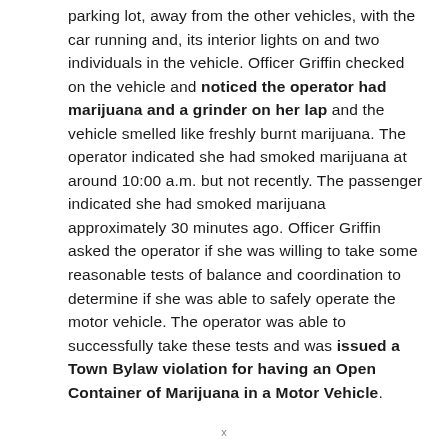parking lot, away from the other vehicles, with the car running and, its interior lights on and two individuals in the vehicle. Officer Griffin checked on the vehicle and noticed the operator had marijuana and a grinder on her lap and the vehicle smelled like freshly burnt marijuana. The operator indicated she had smoked marijuana at around 10:00 a.m. but not recently. The passenger indicated she had smoked marijuana approximately 30 minutes ago. Officer Griffin asked the operator if she was willing to take some reasonable tests of balance and coordination to determine if she was able to safely operate the motor vehicle. The operator was able to successfully take these tests and was issued a Town Bylaw violation for having an Open Container of Marijuana in a Motor Vehicle.
x